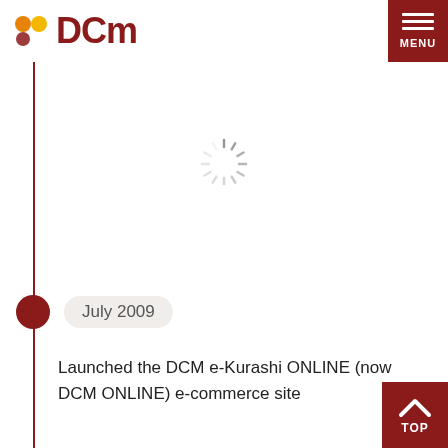[Figure (logo): DCM company logo with two orange/yellow/red dots and bold dark red DCM text]
[Figure (other): Loading spinner icon (circular dashed spinner)]
July 2009
Launched the DCM e-Kurashi ONLINE (now DCM ONLINE) e-commerce site